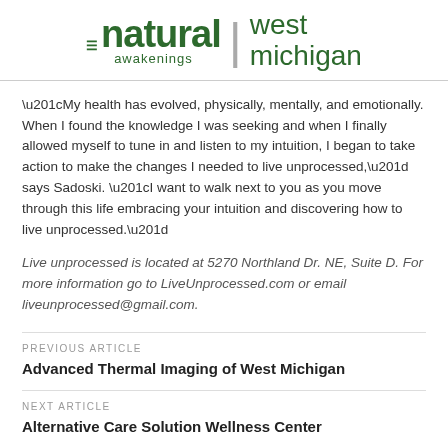natural awakenings | west michigan
“My health has evolved, physically, mentally, and emotionally. When I found the knowledge I was seeking and when I finally allowed myself to tune in and listen to my intuition, I began to take action to make the changes I needed to live unprocessed,” says Sadoski. “I want to walk next to you as you move through this life embracing your intuition and discovering how to live unprocessed.”
Live unprocessed is located at 5270 Northland Dr. NE, Suite D. For more information go to LiveUnprocessed.com or email liveunprocessed@gmail.com.
PREVIOUS ARTICLE
Advanced Thermal Imaging of West Michigan
NEXT ARTICLE
Alternative Care Solution Wellness Center